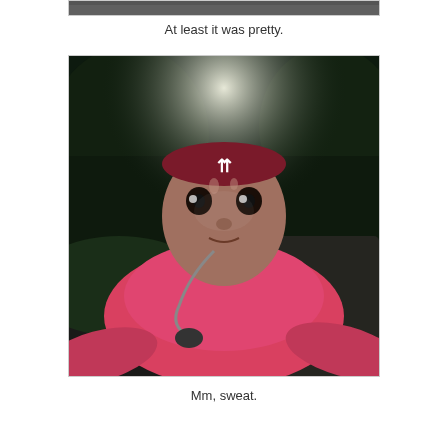[Figure (photo): Partial top strip of an image, cropped at the top of the page]
At least it was pretty.
[Figure (photo): Selfie of a woman after a run at night, wearing a dark red headband with a logo, pink athletic tank top, headphones around her neck. Face is sweaty and glistening. Background shows dark trees and grass lit by ambient light.]
Mm, sweat.